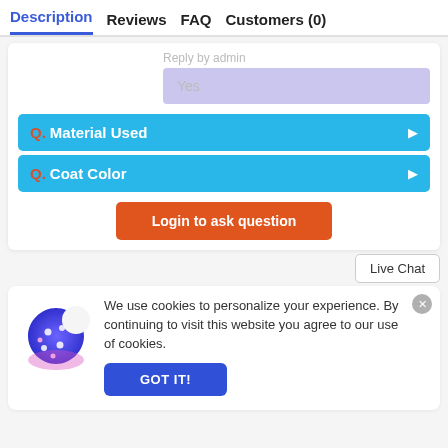Description | Reviews | FAQ | Customers (0)
Reply by admin
Yes
Q. Material Used
Q. Coat Color
Login to ask question
Live Chat
We use cookies to personalize your experience. By continuing to visit this website you agree to our use of cookies.
GOT IT!